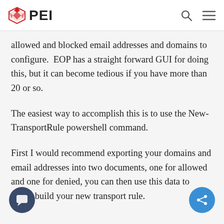PEI
allowed and blocked email addresses and domains to configure.  EOP has a straight forward GUI for doing this, but it can become tedious if you have more than 20 or so.
The easiest way to accomplish this is to use the New-TransportRule powershell command.
First I would recommend exporting your domains and email addresses into two documents, one for allowed and one for denied, you can then use this data to easily build your new transport rule.